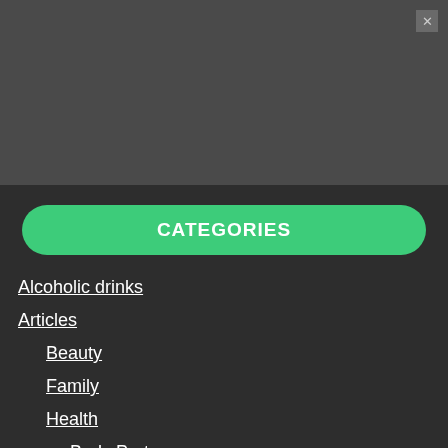[Figure (screenshot): Dark gray top bar area of a mobile/web UI]
CATEGORIES
Alcoholic drinks
Articles
Beauty
Family
Health
Body Parts
Disease Symptoms
LifeStyle
Pet Health
Proper-Nutrition
ChemicalComposition